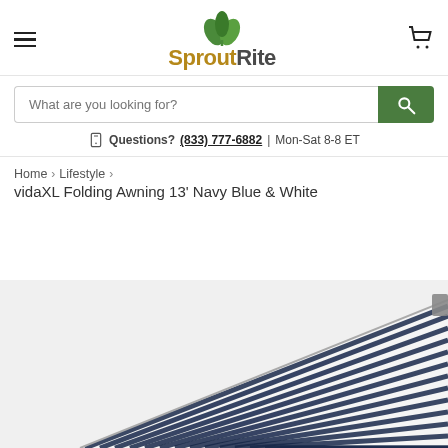SproutRite
What are you looking for?
Questions? (833) 777-6882 | Mon-Sat 8-8 ET
Home > Lifestyle > vidaXL Folding Awning 13' Navy Blue & White
[Figure (photo): A folding awning with navy blue and white stripes, partially extended, viewed from below at an angle.]